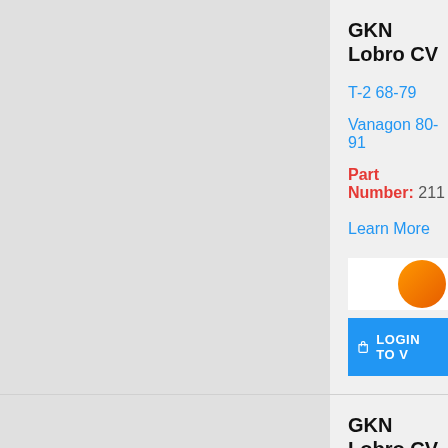GKN Lobro CV
T-2 68-79
Vanagon 80-91
Part Number: 211...
Learn More
[Figure (logo): Orange circular logo/icon partially visible]
LOGIN TO V
GKN Lobro CV
T-1 69-78
T-3 69-73